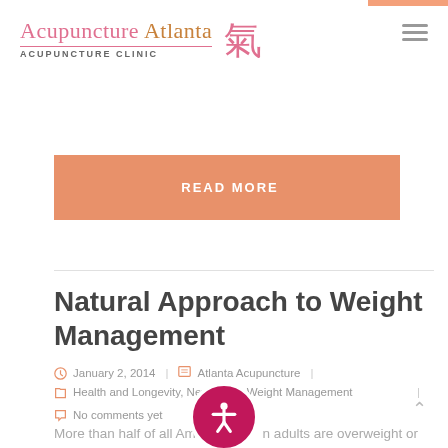Acupuncture Atlanta ACUPUNCTURE CLINIC
READ MORE
Natural Approach to Weight Management
January 2, 2014 | Atlanta Acupuncture |
Health and Longevity, Newsletter, Weight Management
No comments yet
More than half of all American adults are overweight or obese, which can cause many health